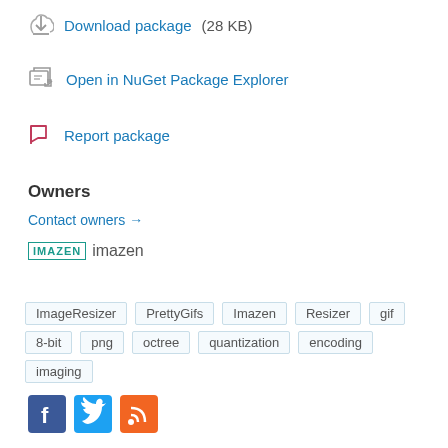Download package (28 KB)
Open in NuGet Package Explorer
Report package
Owners
Contact owners →
imazen
ImageResizer PrettyGifs Imazen Resizer gif 8-bit png octree quantization encoding imaging
[Figure (logo): Social media icons: Facebook (blue), Twitter (blue), RSS (orange)]